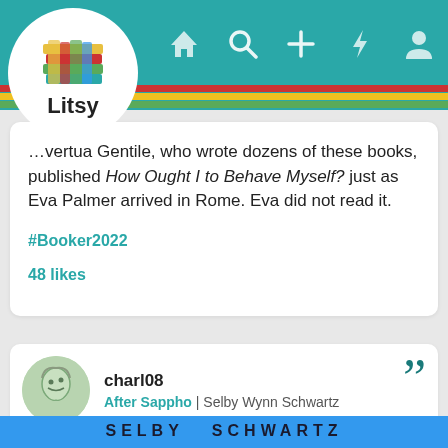[Figure (screenshot): Litsy app navigation bar with logo and icons for home, search, add, activity, and profile]
...vertua Gentile, who wrote dozens of these books, published How Ought I to Behave Myself? just as Eva Palmer arrived in Rome. Eva did not read it.
#Booker2022
48 likes
charl08
After Sappho | Selby Wynn Schwartz
[Figure (photo): Book cover of After Sappho by Selby Wynn Schwartz, blue background with bold dark text]